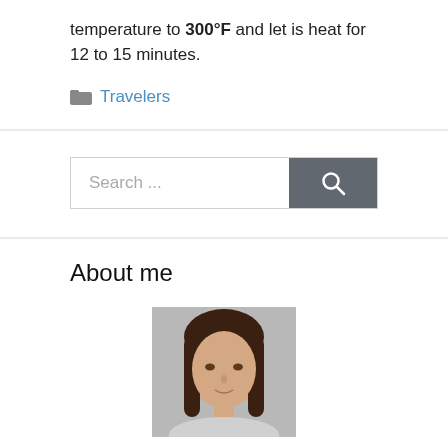temperature to 300°F and let is heat for 12 to 15 minutes.
Travelers
[Figure (screenshot): Search bar with text field showing placeholder 'Search ...' and a dark grey search button with magnifying glass icon]
About me
[Figure (photo): Headshot photo of a woman with long dark brown hair against a grey background]